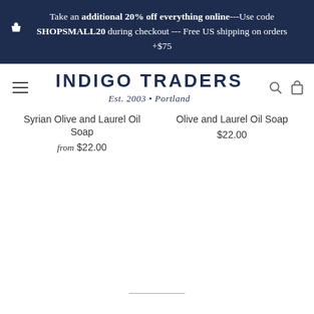Take an additional 20% off everything online---Use code SHOPSMALL20 during checkout --- Free US shipping on orders +$75
INDIGO TRADERS
Est. 2003 • Portland
Syrian Olive and Laurel Oil Soap
from $22.00
Olive and Laurel Oil Soap
$22.00